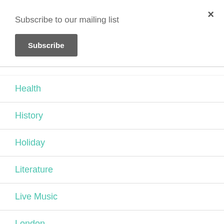Subscribe to our mailing list
Subscribe
×
Health
History
Holiday
Literature
Live Music
London